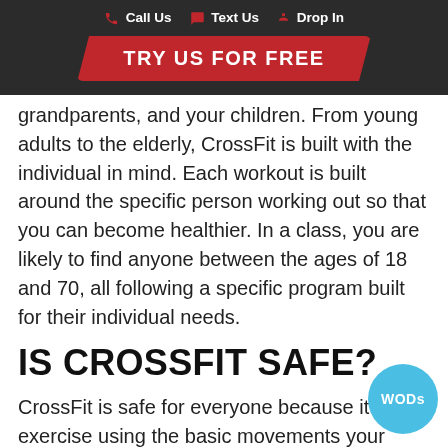📞 Call Us 💬 Text Us 🚶 Drop In
[Figure (other): Red 'TRY US FOR FREE' call-to-action button with parallelogram shape on dark background]
grandparents, and your children. From young adults to the elderly, CrossFit is built with the individual in mind. Each workout is built around the specific person working out so that you can become healthier. In a class, you are likely to find anyone between the ages of 18 and 70, all following a specific program built for their individual needs.
IS CROSSFIT SAFE?
CrossFit is safe for everyone because it is exercise using the basic movements your